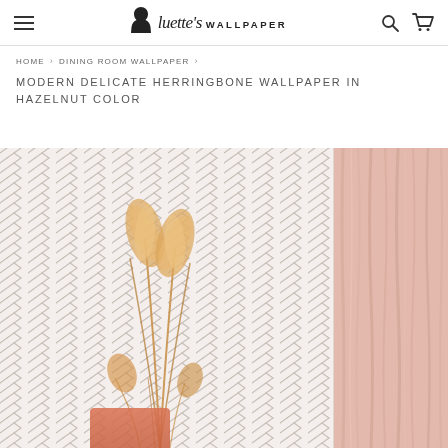Luette's Wallpaper — navigation header with hamburger menu, logo, search and cart icons
HOME › DINING ROOM WALLPAPER ›
MODERN DELICATE HERRINGBONE WALLPAPER IN HAZELNUT COLOR
[Figure (photo): Product photo showing herringbone pattern wallpaper in light off-white/hazelnut color on a wall, with pampas grass decorative stems in a vase in the foreground and soft pink curtains on the right side.]